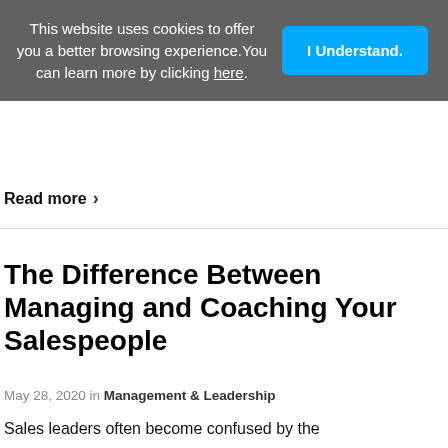This website uses cookies to offer you a better browsing experience. You can learn more by clicking here.
I Understand.
Read more ›
The Difference Between Managing and Coaching Your Salespeople
May 28, 2020 in Management & Leadership
Sales leaders often become confused by the